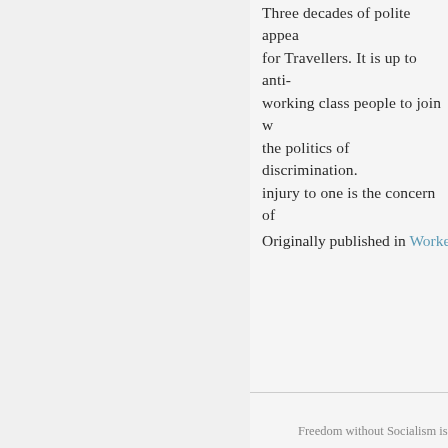Three decades of polite appea for Travellers. It is up to anti- working class people to join w the politics of discrimination. injury to one is the concern of
Originally published in Worke
Freedom without Socialism is pri